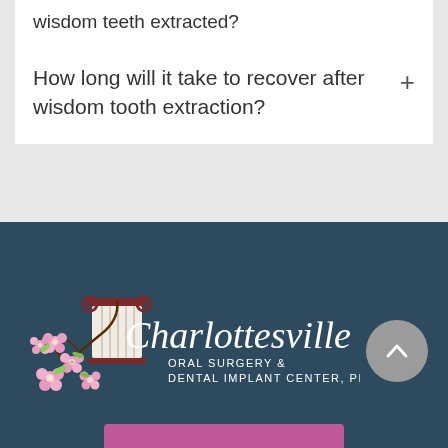wisdom teeth extracted?
How long will it take to recover after wisdom tooth extraction?
[Figure (logo): Charlottesville Oral Surgery & Dental Implant Center, PLLC logo with decorative column and cherry blossoms]